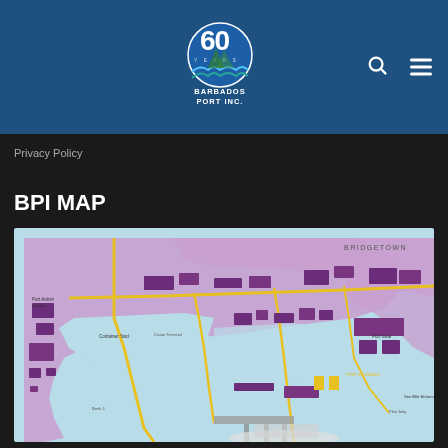Barbados Port Inc. – 60 Years logo, search icon, menu icon
Privacy Policy
BPI MAP
[Figure (map): BPI Map showing the Bridgetown port area in Barbados, with port facilities, roads, terminals, and surrounding sea areas rendered in purple/lavender and light blue colors.]